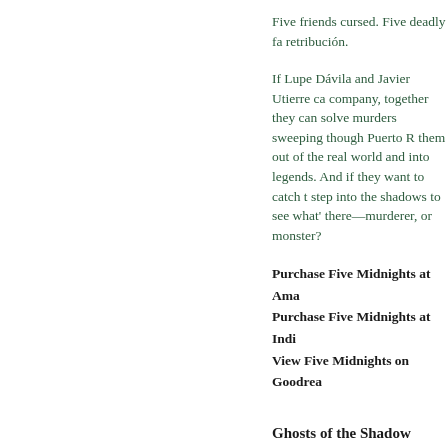Five friends cursed. Five deadly fa... retribución.
If Lupe Dávila and Javier Utierre ca... company, together they can solve ... murders sweeping though Puerto R... them out of the real world and into ... legends. And if they want to catch t... step into the shadows to see what'... there—murderer, or monster?
Purchase Five Midnights at Ama...
Purchase Five Midnights at Indi...
View Five Midnights on Goodrea...
Ghosts of the Shadow Market by Cassandra Clare
Hardcover
Margaret K. McElderry Books
Released 6/4/2019
The Shadow Market is a meeting p... werewolves, warlocks, and vampi...